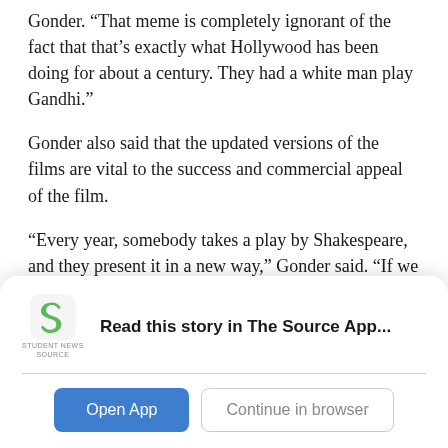Gonder. “That meme is completely ignorant of the fact that that’s exactly what Hollywood has been doing for about a century. They had a white man play Gandhi.”
Gonder also said that the updated versions of the films are vital to the success and commercial appeal of the film.
“Every year, somebody takes a play by Shakespeare, and they present it in a new way,” Gonder said. “If we [presented] it like they did in Elizabethan times, then Shakespeare probably would be dead.”
Bailey isn’t the only black woman who has recently been
[Figure (logo): Student News Source app logo - green stylized S shape with 'STUDENT NEWS SOURCE' text below]
Read this story in The Source App...
Open App
Continue in browser